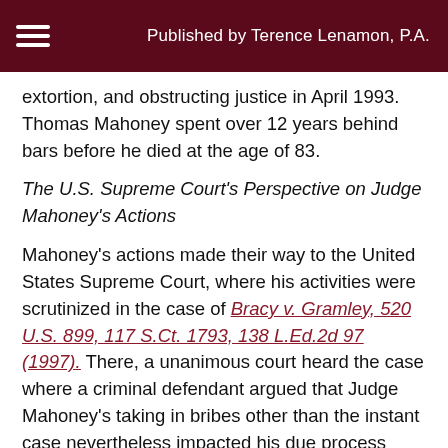Published by Terence Lenamon, P.A.
extortion, and obstructing justice in April 1993. Thomas Mahoney spent over 12 years behind bars before he died at the age of 83.
The U.S. Supreme Court's Perspective on Judge Mahoney's Actions
Mahoney's actions made their way to the United States Supreme Court, where his activities were scrutinized in the case of Bracy v. Gramley, 520 U.S. 899, 117 S.Ct. 1793, 138 L.Ed.2d 97 (1997). There, a unanimous court heard the case where a criminal defendant argued that Judge Mahoney's taking in bribes other than the instant case nevertheless impacted his due process because Mahoney's criminality may well have influenced the judge's